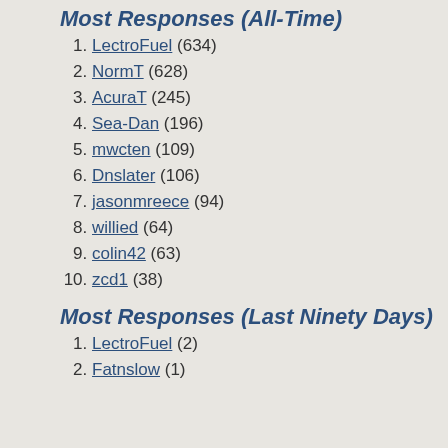Most Responses (All-Time)
LectroFuel (634)
NormT (628)
AcuraT (245)
Sea-Dan (196)
mwcten (109)
Dnslater (106)
jasonmreece (94)
willied (64)
colin42 (63)
zcd1 (38)
Most Responses (Last Ninety Days)
LectroFuel (2)
Fatnslow (1)